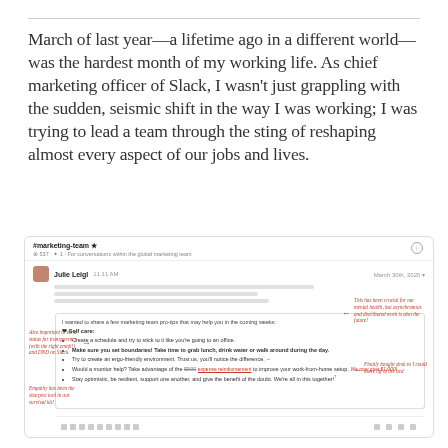March of last year—a lifetime ago in a different world—was the hardest month of my working life. As chief marketing officer of Slack, I wasn't just grappling with the sudden, seismic shift in the way I was working; I was trying to lead a team through the sting of reshaping almost every aspect of our jobs and lives.
[Figure (screenshot): Screenshot of a Slack channel #marketing-team showing a message from Julie Leigl dated March 30th, 2020 with a post about marketing team pro-tips including self care bullet points. Red handwritten-style annotations point to various parts of the message.]